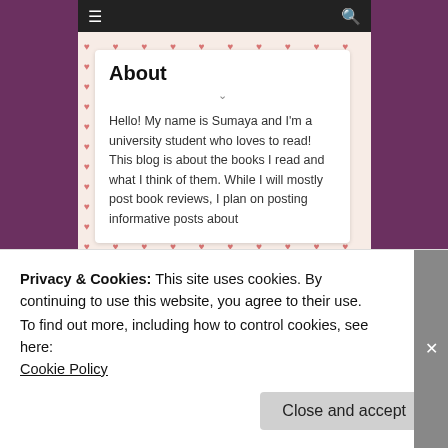[Figure (screenshot): Mobile browser screenshot showing an 'About' blog page with heart-pattern border. The about card shows: heading 'About', text 'Hello! My name is Sumaya and I'm a university student who loves to read! This blog is about the books I read and what I think of them. While I will mostly post book reviews, I plan on posting informative posts about']
[Figure (screenshot): Mobile browser screenshot showing 'sue's reading corner' blog header — dark background with road/forest, cursive white text 'sue's reading corner' and subtitle 'where YA books are reviewed']
Privacy & Cookies: This site uses cookies. By continuing to use this website, you agree to their use.
To find out more, including how to control cookies, see here:
Cookie Policy
Close and accept